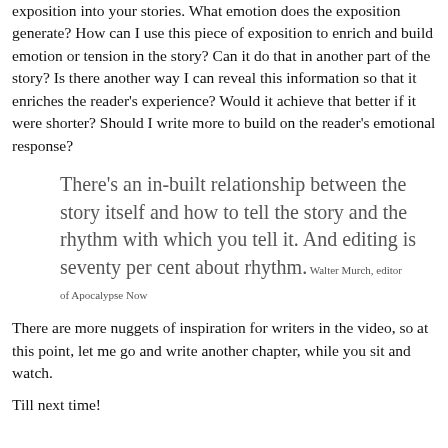exposition into your stories. What emotion does the exposition generate? How can I use this piece of exposition to enrich and build emotion or tension in the story? Can it do that in another part of the story? Is there another way I can reveal this information so that it enriches the reader's experience? Would it achieve that better if it were shorter? Should I write more to build on the reader's emotional response?
There's an in-built relationship between the story itself and how to tell the story and the rhythm with which you tell it. And editing is seventy per cent about rhythm. Walter Murch, editor of Apocalypse Now
There are more nuggets of inspiration for writers in the video, so at this point, let me go and write another chapter, while you sit and watch.
Till next time!